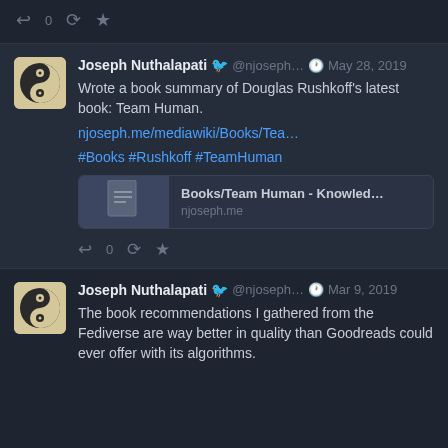[Figure (screenshot): Top action bar with reply, retweet, and star icons]
Joseph Nuthalapati @njoseph... May 28, 2019
Wrote a book summary of Douglas Rushkoff's latest book: Team Human.

njoseph.me/mediawiki/Books/Tea…

#Books #Rushkoff #TeamHuman
[Figure (screenshot): Link preview card: Books/Team Human - Knowled… njoseph.me]
Joseph Nuthalapati @njoseph... Mar 9, 2019
The book recommendations I gathered from the Fediverse are way better in quality than Goodreads could ever offer with its algorithms.